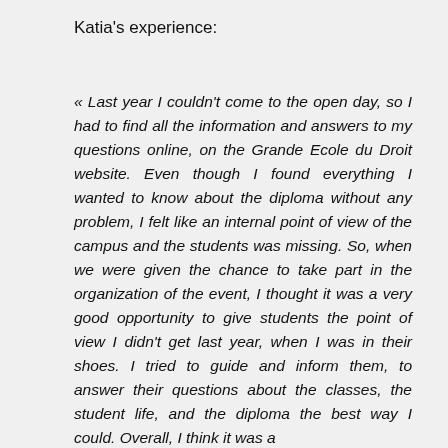Katia's experience:
« Last year I couldn't come to the open day, so I had to find all the information and answers to my questions online, on the Grande Ecole du Droit website. Even though I found everything I wanted to know about the diploma without any problem, I felt like an internal point of view of the campus and the students was missing. So, when we were given the chance to take part in the organization of the event, I thought it was a very good opportunity to give students the point of view I didn't get last year, when I was in their shoes. I tried to guide and inform them, to answer their questions about the classes, the student life, and the diploma the best way I could. Overall, I think it was a